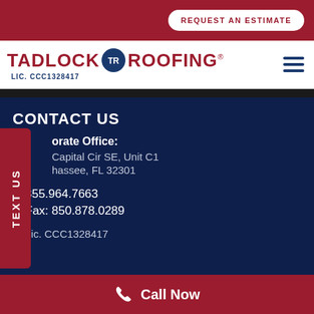[Figure (screenshot): Tadlock Roofing website screenshot showing contact page with REQUEST AN ESTIMATE button, logo, hamburger menu, CONTACT US section with corporate office address, phone, fax, license number, and Call Now button]
REQUEST AN ESTIMATE
[Figure (logo): Tadlock Roofing logo with circular TR emblem, LIC. CCC1328417]
CONTACT US
TEXT US
Corporate Office:
Capital Cir SE, Unit C1
hassee, FL 32301
855.964.7663
Fax: 850.878.0289
Lic. CCC1328417
Call Now